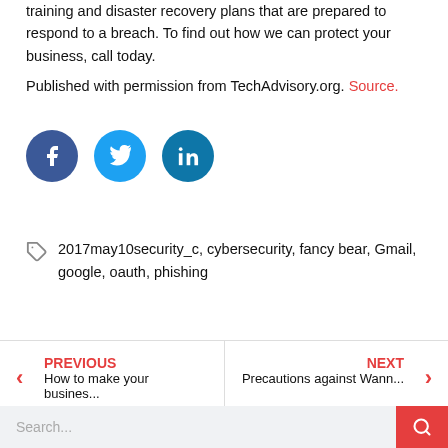training and disaster recovery plans that are prepared to respond to a breach. To find out how we can protect your business, call today.
Published with permission from TechAdvisory.org. Source.
[Figure (other): Three social media sharing icons: Facebook (dark blue circle), Twitter (light blue circle), LinkedIn (teal/dark blue circle)]
2017may10security_c, cybersecurity, fancy bear, Gmail, google, oauth, phishing
PREVIOUS
How to make your busines...
NEXT
Precautions against Wann...
Search...